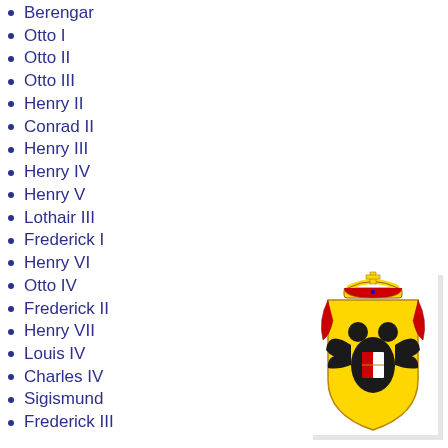Berengar
Otto I
Otto II
Otto III
Henry II
Conrad II
Henry III
Henry IV
Henry V
Lothair III
Frederick I
Henry VI
Otto IV
Frederick II
Henry VII
Louis IV
Charles IV
Sigismund
Frederick III
[Figure (illustration): Coat of arms of the Holy Roman Empire — a golden shield with a double-headed black eagle, topped with an imperial crown in red and gold, with colorful heraldic decorations]